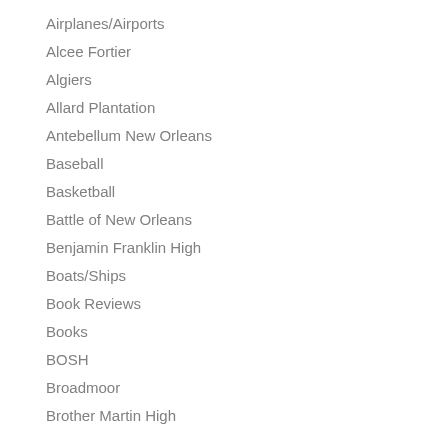Airplanes/Airports
Alcee Fortier
Algiers
Allard Plantation
Antebellum New Orleans
Baseball
Basketball
Battle of New Orleans
Benjamin Franklin High
Boats/Ships
Book Reviews
Books
BOSH
Broadmoor
Brother Martin High